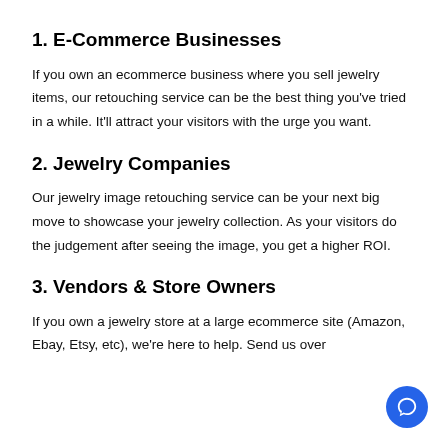1. E-Commerce Businesses
If you own an ecommerce business where you sell jewelry items, our retouching service can be the best thing you've tried in a while. It'll attract your visitors with the urge you want.
2. Jewelry Companies
Our jewelry image retouching service can be your next big move to showcase your jewelry collection. As your visitors do the judgement after seeing the image, you get a higher ROI.
3. Vendors & Store Owners
If you own a jewelry store at a large ecommerce site (Amazon, Ebay, Etsy, etc), we're here to help. Send us over